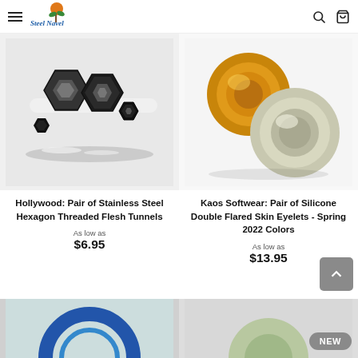Steel Navel navigation header with hamburger menu, logo, search and cart icons
[Figure (photo): Pair of black stainless steel hexagon threaded flesh tunnels, multiple sizes shown on white background]
[Figure (photo): Pair of silicone double flared skin eyelets in spring 2022 colors - gold and sage green, on white background]
Hollywood: Pair of Stainless Steel Hexagon Threaded Flesh Tunnels
As low as $6.95
Kaos Softwear: Pair of Silicone Double Flared Skin Eyelets - Spring 2022 Colors
As low as $13.95
[Figure (photo): Bottom partial product image left - blue silicone earlets]
[Figure (photo): Bottom partial product image right - partial view]
NEW